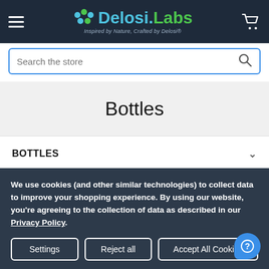Delosi.Labs — Inspired by Nature, Crafted by Delosi®
Search the store
Bottles
BOTTLES
Chubby Gorilla PET Bottles
Shaker & Storage Bottles
We use cookies (and other similar technologies) to collect data to improve your shopping experience. By using our website, you're agreeing to the collection of data as described in our Privacy Policy.
Settings | Reject all | Accept All Cookies